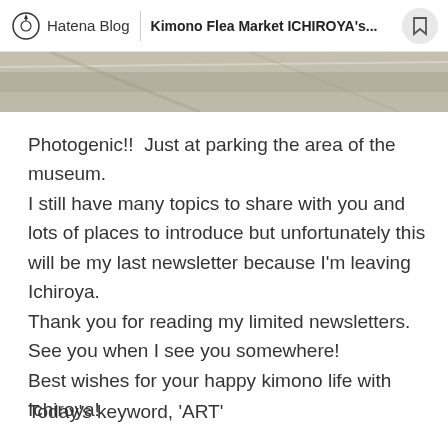Hatena Blog | Kimono Flea Market ICHIROYA's...
[Figure (photo): Partial image strip showing a stone or marble surface, cropped at top of content area]
Photogenic!!  Just at parking the area of the museum. I still have many topics to share with you and lots of places to introduce but unfortunately this will be my last newsletter because I'm leaving Ichiroya.
Thank you for reading my limited newsletters.  See you when I see you somewhere!
Best wishes for your happy kimono life with Ichiroya!
Today's keyword, ‘ART’